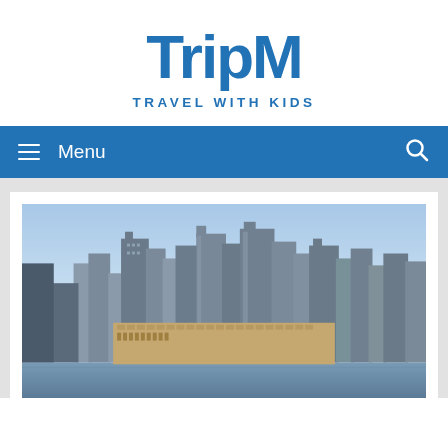TripM
TRAVEL WITH KIDS
≡  Menu
[Figure (photo): City skyline photograph showing tall buildings and skyscrapers against a blue sky, viewed from across water. The image shows a dense urban downtown area with a mix of modern glass and older brick buildings.]